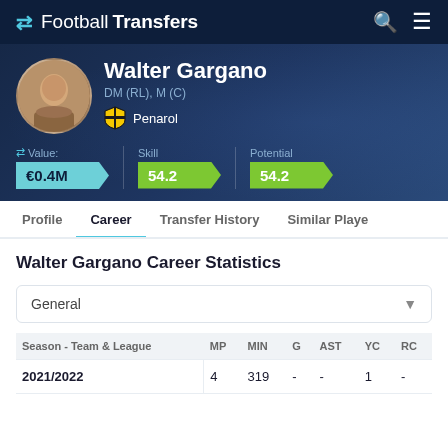FootballTransfers
Walter Gargano
DM (RL), M (C)
Penarol
Value: €0.4M  Skill 54.2  Potential 54.2
Profile
Career
Transfer History
Similar Players
Walter Gargano Career Statistics
General
| Season - Team & League | MP | MIN | G | AST | YC | RC |
| --- | --- | --- | --- | --- | --- | --- |
| 2021/2022 | 4 | 319 | - | - | 1 | - |